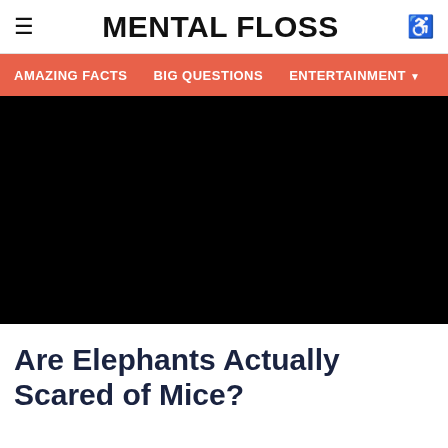≡   MENTAL FLOSS   ♿
AMAZING FACTS   BIG QUESTIONS   ENTERTAINMENT ▾
[Figure (photo): Black rectangular image, likely a video player or hero image placeholder]
Are Elephants Actually Scared of Mice?